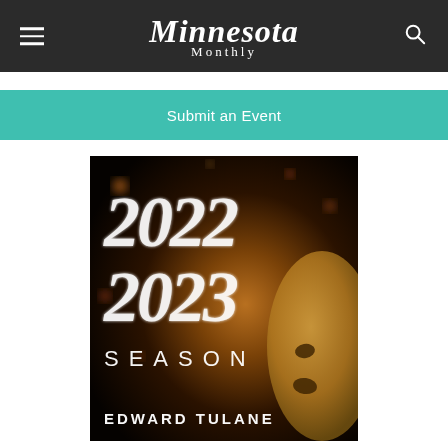Minnesota Monthly
Submit an Event
[Figure (illustration): 2022-2023 Season poster with sparkly script numbers on dark background, featuring a golden theatrical mask and 'EDWARD TULANE' text at the bottom]